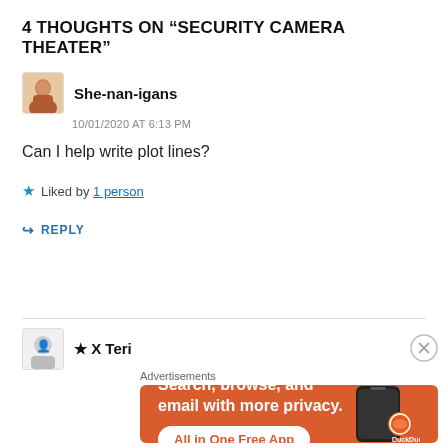4 THOUGHTS ON "SECURITY CAMERA THEATER"
She-nan-igans
10/01/2020 AT 6:13 PM
Can I help write plot lines?
Liked by 1 person
REPLY
★ X Teri
Advertisements
[Figure (screenshot): DuckDuckGo advertisement banner: orange background, text 'Search, browse, and email with more privacy. All in One Free App' with DuckDuckGo logo and phone mockup]